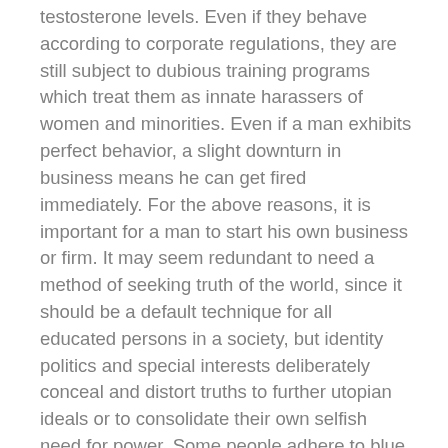testosterone levels. Even if they behave according to corporate regulations, they are still subject to dubious training programs which treat them as innate harassers of women and minorities. Even if a man exhibits perfect behavior, a slight downturn in business means he can get fired immediately. For the above reasons, it is important for a man to start his own business or firm. It may seem redundant to need a method of seeking truth of the world, since it should be a default technique for all educated persons in a society, but identity politics and special interests deliberately conceal and distort truths to further utopian ideals or to consolidate their own selfish need for power. Some people adhere to blue pill ideas because they have been brainwashed while others do so purposefully to raise their position in the hierarchy of the group they're a member of. Such a practice is not conducive to family formation or sanity on a societal level. They should not be allowed to disrupt the lifestyle and healthy traditions of those